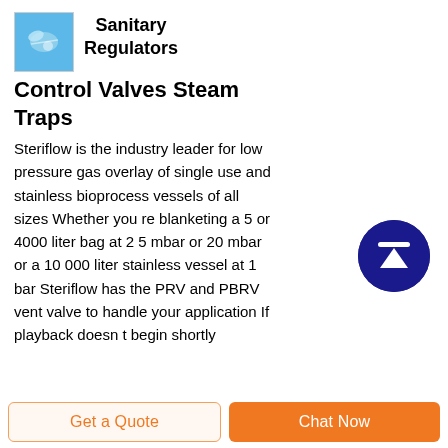[Figure (logo): Small square logo with light blue background showing what appears to be a valve/fitting component image]
Sanitary Regulators
Control Valves Steam Traps
Steriflow is the industry leader for low pressure gas overlay of single use and stainless bioprocess vessels of all sizes Whether you re blanketing a 5 or 4000 liter bag at 2 5 mbar or 20 mbar or a 10 000 liter stainless vessel at 1 bar Steriflow has the PRV and PBRV vent valve to handle your application If playback doesn t begin shortly
[Figure (other): Dark navy blue circular scroll-to-top button with white upward arrow and horizontal bar at top]
Get a Quote
Chat Now